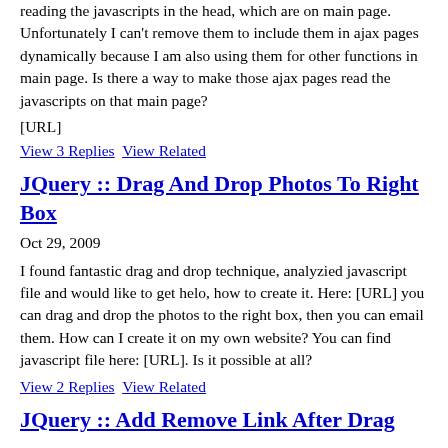reading the javascripts in the head, which are on main page. Unfortunately I can't remove them to include them in ajax pages dynamically because I am also using them for other functions in main page. Is there a way to make those ajax pages read the javascripts on that main page?
[URL]
View 3 Replies   View Related
JQuery :: Drag And Drop Photos To Right Box
Oct 29, 2009
I found fantastic drag and drop technique, analyzied javascript file and would like to get helo, how to create it. Here: [URL] you can drag and drop the photos to the right box, then you can email them. How can I create it on my own website? You can find javascript file here: [URL]. Is it possible at all?
View 2 Replies   View Related
JQuery :: Add Remove Link After Drag